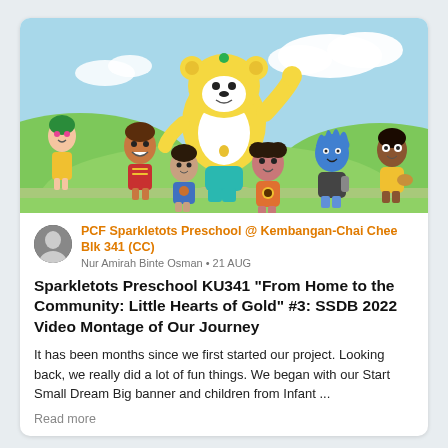[Figure (illustration): Colorful cartoon illustration showing animated characters: a large yellow bear mascot in the center waving, surrounded by six diverse cartoon children on a path with green hills and blue sky with clouds in the background.]
PCF Sparkletots Preschool @ Kembangan-Chai Chee Blk 341 (CC)
Nur Amirah Binte Osman • 21 AUG
Sparkletots Preschool KU341 "From Home to the Community: Little Hearts of Gold" #3: SSDB 2022 Video Montage of Our Journey
It has been months since we first started our project. Looking back, we really did a lot of fun things. We began with our Start Small Dream Big banner and children from Infant ...
Read more